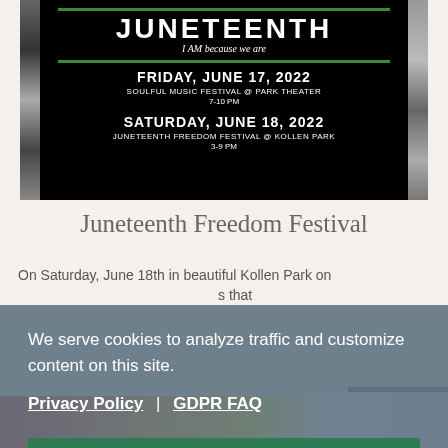[Figure (photo): Juneteenth event poster on black background. Top reads 'JUNETEENTH / I AM because we are'. Below: 'FRIDAY, JUNE 17, 2022 / SOULFUL MUSIC FESTIVAL @ PARK THEATER / 7-10 PM' and 'SATURDAY, JUNE 18, 2022 / JUNETEENTH FREEDOM FESTIVAL @ KOLLEN PARK / 3-9 PM'. Photo strips of diverse people on left and right sides.]
Juneteenth Freedom Festival
On Saturday, June 18th in beautiful Kollen Park on ... s that
We serve cookies to analyze traffic and customize content on this site. Privacy Policy | GDPR FAQ
Got it!
[Figure (photo): Bottom strip showing colorful fabric or decorative elements in red, orange, yellow, and white.]